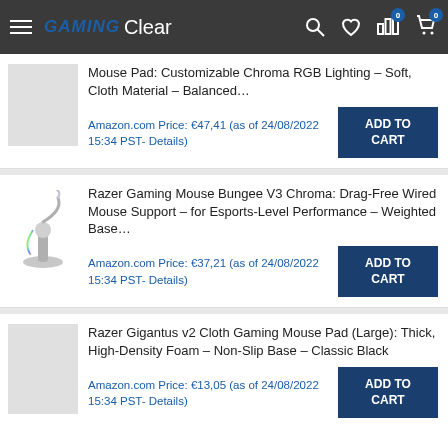GAMING Clear — navigation header with search, wishlist, stats, cart icons
Mouse Pad: Customizable Chroma RGB Lighting – Soft, Cloth Material – Balanced…
Amazon.com Price: €47,41 (as of 24/08/2022 15:34 PST- Details)
ADD TO CART
Razer Gaming Mouse Bungee V3 Chroma: Drag-Free Wired Mouse Support – for Esports-Level Performance – Weighted Base…
Amazon.com Price: €37,21 (as of 24/08/2022 15:34 PST- Details)
ADD TO CART
Razer Gigantus v2 Cloth Gaming Mouse Pad (Large): Thick, High-Density Foam – Non-Slip Base – Classic Black
Amazon.com Price: €13,05 (as of 24/08/2022 15:34 PST- Details)
ADD TO CART